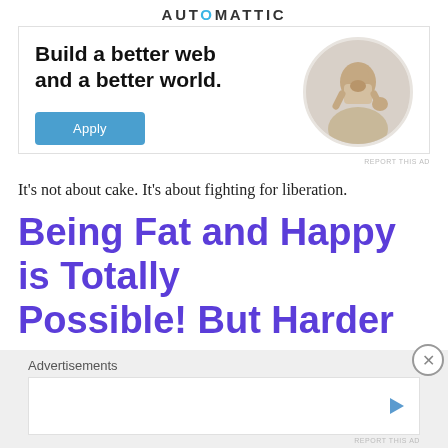AUTOMATTIC
[Figure (infographic): Automattic job ad with headline 'Build a better web and a better world.' and an Apply button, alongside a circular portrait photo of a man thinking]
REPORT THIS AD
It's not about cake. It's about fighting for liberation.
Being Fat and Happy is Totally Possible! But Harder
Advertisements
[Figure (other): Advertisement placeholder box with a play icon]